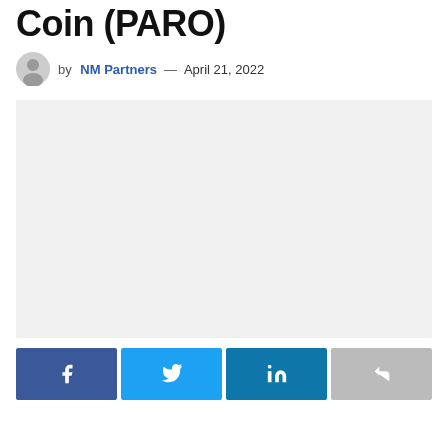Coin (PARO)
by NM Partners — April 21, 2022
[Figure (other): Large placeholder image area with light gray background]
Social share buttons: Facebook, Twitter, LinkedIn, Share